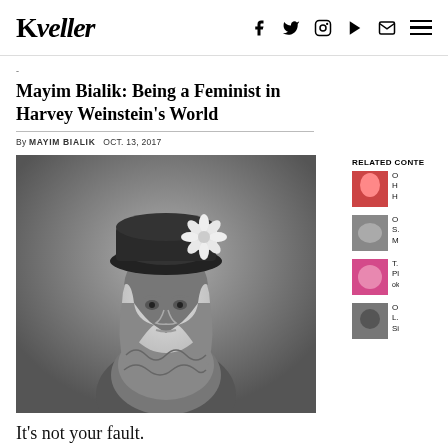Kveller
-
Mayim Bialik: Being a Feminist in Harvey Weinstein's World
By MAYIM BIALIK   OCT. 13, 2017
[Figure (photo): Black and white portrait photo of a young person wearing a beret-style hat with a large flower, looking at the camera with a serious expression, wearing a lace or crocheted top]
It's not your fault.